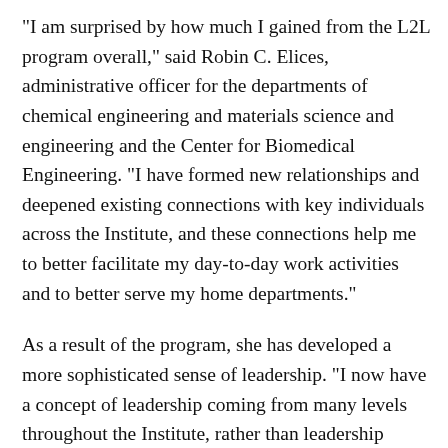"I am surprised by how much I gained from the L2L program overall," said Robin C. Elices, administrative officer for the departments of chemical engineering and materials science and engineering and the Center for Biomedical Engineering. "I have formed new relationships and deepened existing connections with key individuals across the Institute, and these connections help me to better facilitate my day-to-day work activities and to better serve my home departments."
As a result of the program, she has developed a more sophisticated sense of leadership. "I now have a concept of leadership coming from many levels throughout the Institute, rather than leadership coming only from members of our senior